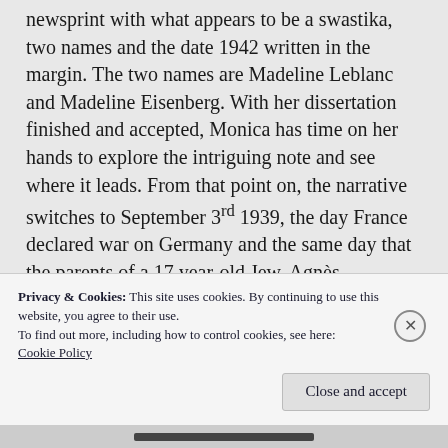newsprint with what appears to be a swastika, two names and the date 1942 written in the margin. The two names are Madeline Leblanc and Madeline Eisenberg. With her dissertation finished and accepted, Monica has time on her hands to explore the intriguing note and see where it leads. From that point on, the narrative switches to September 3rd 1939, the day France declared war on Germany and the same day that the parents of a 17 year-old Jew, Agnès Eisenberg, are involved in a fatal
Privacy & Cookies: This site uses cookies. By continuing to use this website, you agree to their use.
To find out more, including how to control cookies, see here:
Cookie Policy
Close and accept